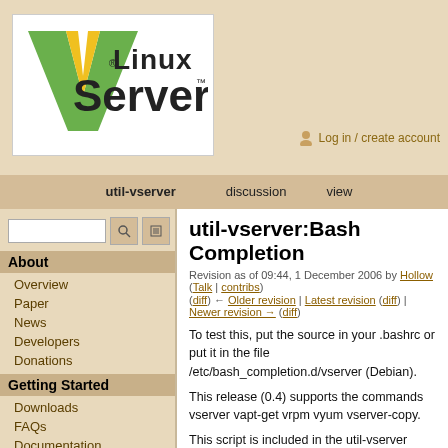[Figure (logo): Linux VServer logo - letter V in green and gold with text 'Linux VServer' and registered/trademark marks]
Log in / create account
util-vserver   discussion   view
util-vserver:Bash Completion
Revision as of 09:44, 1 December 2006 by Hollow (Talk | contribs)
(diff) ← Older revision | Latest revision (diff) | Newer revision → (diff)
About
Overview
Paper
News
Developers
Donations
Getting Started
Downloads
FAQs
Documentation
Support
Participate
To test this, put the source in your .bashrc or put it in the file /etc/bash_completion.d/vserver (Debian).
This release (0.4) supports the commands vserver vapt-get vrpm vyum vserver-copy.
This script is included in the util-vserver Debian package, and is automatically installed into /etc/bash_completion.d/vserver when you install this package.
For zsh completion, the Debian zsh package has the vserver completion included, see